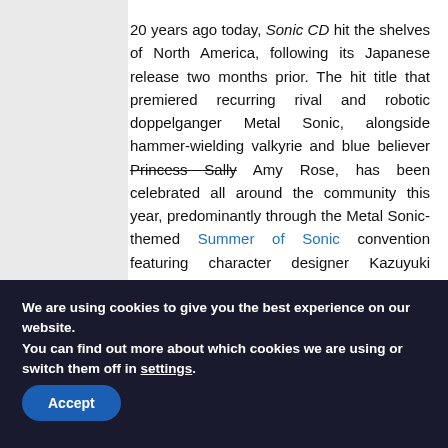20 years ago today, Sonic CD hit the shelves of North America, following its Japanese release two months prior. The hit title that premiered recurring rival and robotic doppelganger Metal Sonic, alongside hammer-wielding valkyrie and blue believer Princess Sally Amy Rose, has been celebrated all around the community this year, predominantly through the Metal Sonic-themed Summer of Sonic convention featuring character designer Kazuyuki Hoshino. However, another Sonic CD tribute was in the works bu
We are using cookies to give you the best experience on our website.
You can find out more about which cookies we are using or switch them off in settings.
Accept